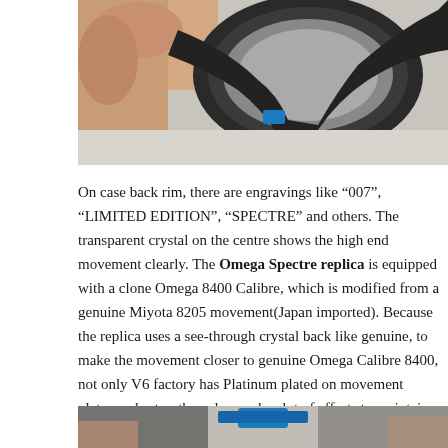[Figure (photo): Close-up photo of a watch back case held in fingers, showing engravings and a blue element with a black strap, on a white/gray background.]
On case back rim, there are engravings like “007”, “LIMITED EDITION”, “SPECTRE” and others. The transparent crystal on the centre shows the high end movement clearly. The Omega Spectre replica is equipped with a clone Omega 8400 Calibre, which is modified from a genuine Miyota 8205 movement(Japan imported). Because the replica uses a see-through crystal back like genuine, to make the movement closer to genuine Omega Calibre 8400, not only V6 factory has Platinum plated on movement plates and rotor, they also made a lot of efforts to maintain the high stability and accuracy of original Miyota 8205.
[Figure (photo): Partial photo at bottom showing a close-up of a watch component with blue element, cropped view.]